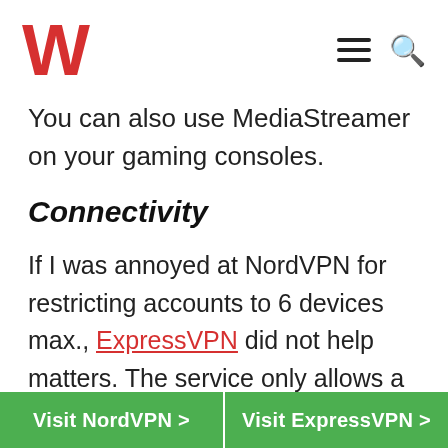W [logo] [hamburger menu] [search icon]
You can also use MediaStreamer on your gaming consoles.
Connectivity
If I was annoyed at NordVPN for restricting accounts to 6 devices max., ExpressVPN did not help matters. The service only allows a maximum of 5
Visit NordVPN >    Visit ExpressVPN >